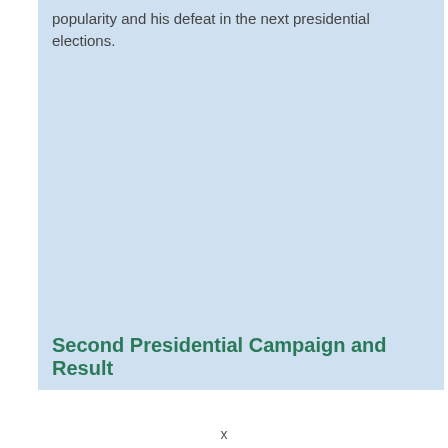popularity and his defeat in the next presidential elections.
Second Presidential Campaign and Result